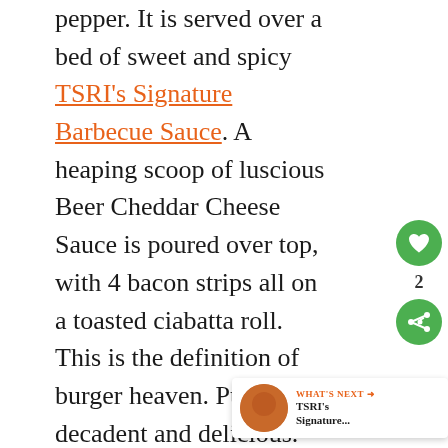pepper.  It is served over a bed of sweet and spicy TSRI's Signature Barbecue Sauce.  A heaping scoop of luscious Beer Cheddar Cheese Sauce is poured over top, with 4 bacon strips all on a toasted ciabatta roll.  This is the definition of burger heaven.  Purely decadent and delicious.  Chad has requested this for his birthday dinner too.
Helpful Tips to make Barb Bacon Cheddar Smokehouse Burger: